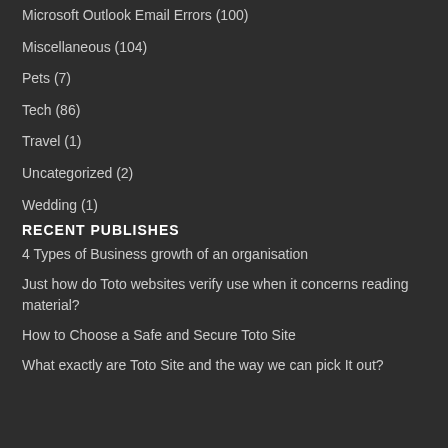Microsoft Outlook Email Errors (100)
Miscellaneous (104)
Pets (7)
Tech (86)
Travel (1)
Uncategorized (2)
Wedding (1)
RECENT PUBLISHES
4 Types of Business growth of an organisation
Just how do Toto websites verify use when it concerns reading material?
How to Choose a Safe and Secure Toto Site
What exactly are Toto Site and the way we can pick It out?